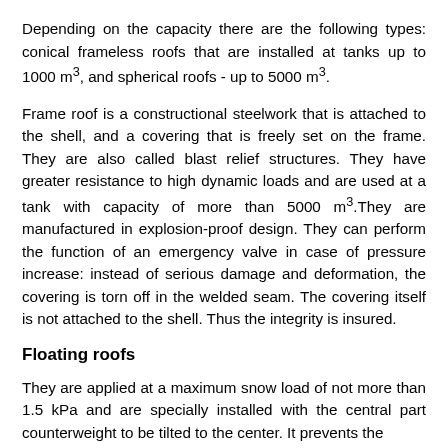Depending on the capacity there are the following types: conical frameless roofs that are installed at tanks up to 1000 m³, and spherical roofs - up to 5000 m³.
Frame roof is a constructional steelwork that is attached to the shell, and a covering that is freely set on the frame. They are also called blast relief structures. They have greater resistance to high dynamic loads and are used at a tank with capacity of more than 5000 m³.They are manufactured in explosion-proof design. They can perform the function of an emergency valve in case of pressure increase: instead of serious damage and deformation, the covering is torn off in the welded seam. The covering itself is not attached to the shell. Thus the integrity is insured.
Floating roofs
They are applied at a maximum snow load of not more than 1.5 kPa and are specially installed with the central part counterweight to be tilted to the center. It prevents the product from washing the roof.